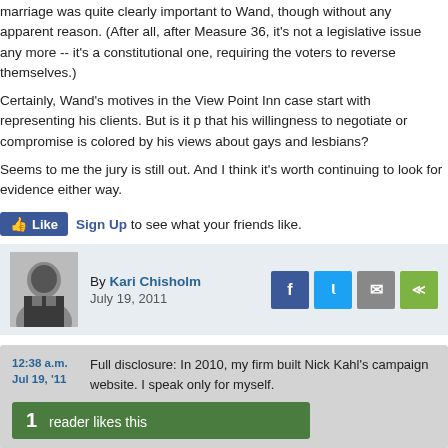marriage was quite clearly important to Wand, though without any apparent reason. (After all, after Measure 36, it's not a legislative issue any more -- it's a constitutional one, requiring the voters to reverse themselves.)
Certainly, Wand's motives in the View Point Inn case start with representing his clients. But is it possible that his willingness to negotiate or compromise is colored by his views about gays and lesbians?
Seems to me the jury is still out. And I think it's worth continuing to look for evidence either way.
Like | Sign Up to see what your friends like.
By Kari Chisholm
July 19, 2011
12:38 a.m. Jul 19, '11 — Full disclosure: In 2010, my firm built Nick Kahl's campaign website. I speak only for myself.
1 reader likes this
9:56 a.m. Jul 19, '11 — i had the chance to talk to Rep Wand regarding his feelings towards Pdx during the session. to be blunt, he hates us. he believe that there is no one -- and i pressed him on this (sadly, off-camera) and he made it clear he meant no one -- in Pdx cares about "his" people, Troutdale. the proof? we opposed the Mount Hood Freeway. yes, that Mount Hood Freeway, stopped from destroying a massive section of SE Pdx was, in fact, an attack on the people of east county.